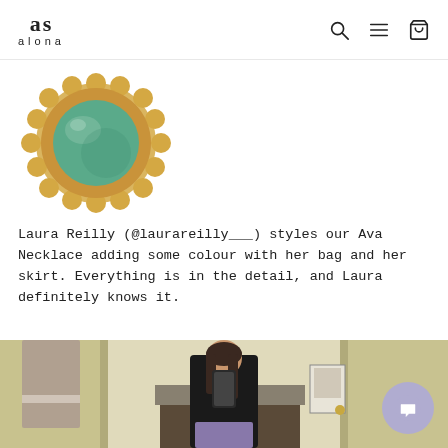as alona — navigation header with search, menu, and cart icons
[Figure (photo): Green gemstone round pendant necklace with gold setting, Ava Necklace product photo on white background]
Laura Reilly (@laurareilly___) styles our Ava Necklace adding some colour with her bag and her skirt. Everything is in the detail, and Laura definitely knows it.
[Figure (photo): Woman in black top and purple skirt taking a mirror selfie in a room with a towel and fireplace in the background, wearing the Ava Necklace]